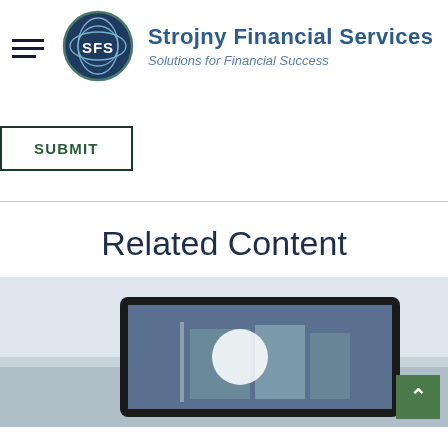[Figure (logo): Strojny Financial Services logo: circular dark navy emblem with SFS letters and globe/globe lines, with company name and tagline to the right]
SUBMIT
Related Content
[Figure (photo): Photo of a tablet device showing a city building image, with a blurred office background]